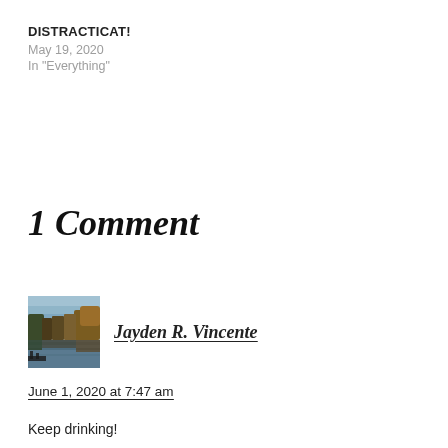DISTRACTICAT!
May 19, 2020
In "Everything"
1 Comment
[Figure (photo): Small avatar photo showing a lake or river scene with trees and autumn foliage reflected in the water, dusk or overcast sky]
Jayden R. Vincente
June 1, 2020 at 7:47 am
Keep drinking!